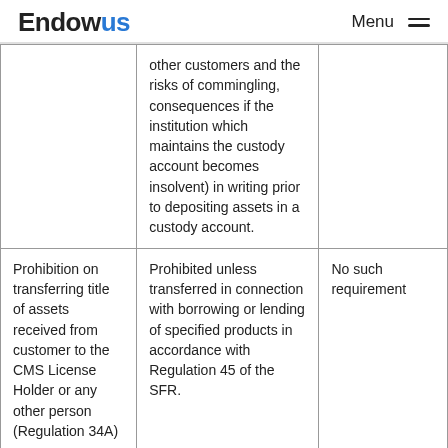Endowus   Menu
|  |  |  |
| --- | --- | --- |
|  | other customers and the risks of commingling, consequences if the institution which maintains the custody account becomes insolvent) in writing prior to depositing assets in a custody account. |  |
| Prohibition on transferring title of assets received from customer to the CMS License Holder or any other person (Regulation 34A) | Prohibited unless transferred in connection with borrowing or lending of specified products in accordance with Regulation 45 of the SFR. | No such requirement |